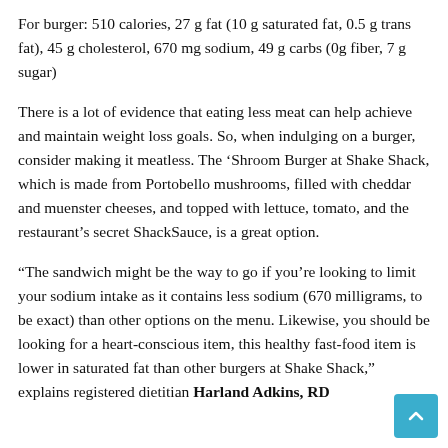For burger: 510 calories, 27 g fat (10 g saturated fat, 0.5 g trans fat), 45 g cholesterol, 670 mg sodium, 49 g carbs (0g fiber, 7 g sugar)
There is a lot of evidence that eating less meat can help achieve and maintain weight loss goals. So, when indulging on a burger, consider making it meatless. The ‘Shroom Burger at Shake Shack, which is made from Portobello mushrooms, filled with cheddar and muenster cheeses, and topped with lettuce, tomato, and the restaurant’s secret ShackSauce, is a great option.
“The sandwich might be the way to go if you’re looking to limit your sodium intake as it contains less sodium (670 milligrams, to be exact) than other options on the menu. Likewise, you should be looking for a heart-conscious item, this healthy fast-food item is lower in saturated fat than other burgers at Shake Shack,” explains registered dietitian Harland Adkins, RD